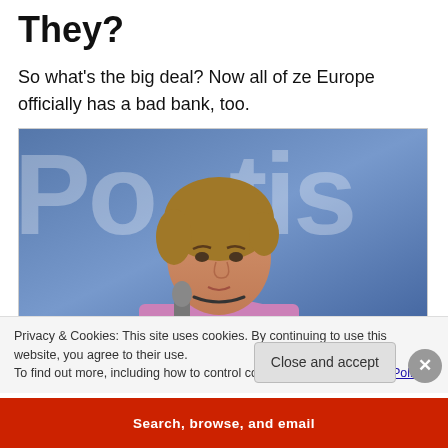They?
So what's the big deal? Now all of ze Europe officially has a bad bank, too.
[Figure (photo): A woman in a pink jacket standing in front of a sign that reads 'Portis' (partially visible). She appears to be at a press conference with a microphone in front of her.]
Privacy & Cookies: This site uses cookies. By continuing to use this website, you agree to their use.
To find out more, including how to control cookies, see here: Cookie Policy
Close and accept
Search, browse, and email